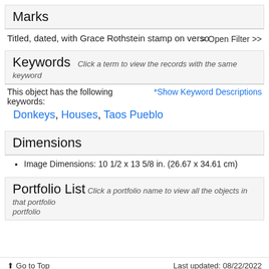Marks
Titled, dated, with Grace Rothstein stamp on verso
≡ Open Filter >>
Keywords  Click a term to view the records with the same keyword
This object has the following keywords:
*Show Keyword Descriptions
Donkeys, Houses, Taos Pueblo
Dimensions
Image Dimensions: 10 1/2 x 13 5/8 in. (26.67 x 34.61 cm)
Portfolio List  Click a portfolio name to view all the objects in that portfolio
↑ Go to Top                    Last updated: 08/22/2022